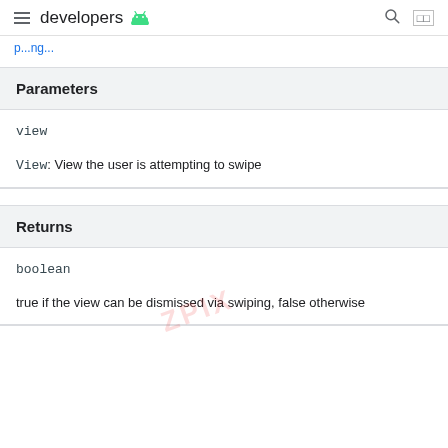developers
p...ng...
Parameters
view
View: View the user is attempting to swipe
Returns
boolean
true if the view can be dismissed via swiping, false otherwise